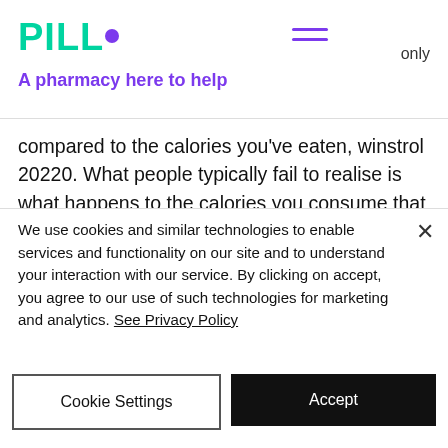PILLO - A pharmacy here to help
compared to the calories you've eaten, winstrol 20220. What people typically fail to realise is what happens to the calories you consume that are not used up when you exercise, winstrol 20221.
So while calories are a relatively easy and quick measure of exercise and nutrition, they aren't enough, moobs calorie deficit.
We use cookies and similar technologies to enable services and functionality on our site and to understand your interaction with our service. By clicking on accept, you agree to our use of such technologies for marketing and analytics. See Privacy Policy